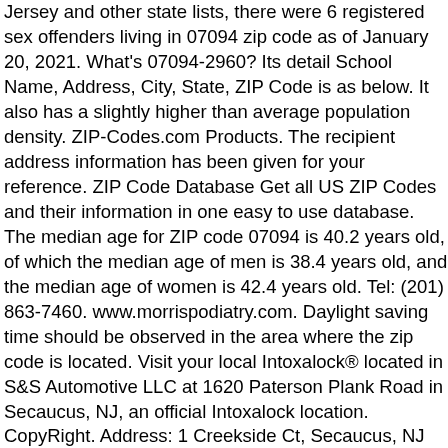Jersey and other state lists, there were 6 registered sex offenders living in 07094 zip code as of January 20, 2021. What's 07094-2960? Its detail School Name, Address, City, State, ZIP Code is as below. It also has a slightly higher than average population density. ZIP-Codes.com Products. The recipient address information has been given for your reference. ZIP Code Database Get all US ZIP Codes and their information in one easy to use database. The median age for ZIP code 07094 is 40.2 years old, of which the median age of men is 38.4 years old, and the median age of women is 42.4 years old. Tel: (201) 863-7460. www.morrispodiatry.com. Daylight saving time should be observed in the area where the zip code is located. Visit your local Intoxalock® located in S&S Automotive LLC at 1620 Paterson Plank Road in Secaucus, NJ, an official Intoxalock location. CopyRight. Address: 1 Creekside Ct, Secaucus, NJ 07094, USA; ZIP Code: 07094-3750; State: New Jersey; Country: U.S. - United ... Generally, If you are not sure of the full 9-digit zip code, you can only fill in the 5-digit zip code to avoid loss of package. Please enter a valid 5-digit Zip Code. ZIP+4 ZIP Code Database Covering every address in the U.S., get the +4 information you need. Zip Code 07094 - Secaucus NJ New Jersey, USA - Hudson County SECAUCUS is a city in Hudson County, New